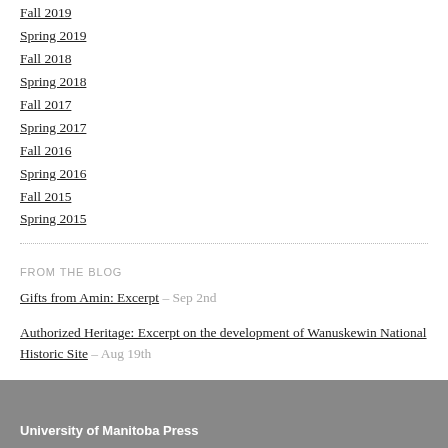Fall 2019
Spring 2019
Fall 2018
Spring 2018
Fall 2017
Spring 2017
Fall 2016
Spring 2016
Fall 2015
Spring 2015
FROM THE BLOG
Gifts from Amin: Excerpt – Sep 2nd
Authorized Heritage: Excerpt on the development of Wanuskewin National Historic Site – Aug 19th
Awards Season 2022! – May 19th
University of Manitoba Press